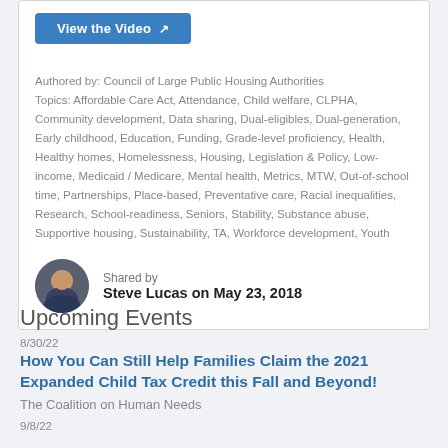[Figure (other): Blue 'View the Video' button with external link icon]
Authored by: Council of Large Public Housing Authorities
Topics: Affordable Care Act, Attendance, Child welfare, CLPHA, Community development, Data sharing, Dual-eligibles, Dual-generation, Early childhood, Education, Funding, Grade-level proficiency, Health, Healthy homes, Homelessness, Housing, Legislation & Policy, Low-income, Medicaid / Medicare, Mental health, Metrics, MTW, Out-of-school time, Partnerships, Place-based, Preventative care, Racial inequalities, Research, School-readiness, Seniors, Stability, Substance abuse, Supportive housing, Sustainability, TA, Workforce development, Youth
Shared by
Steve Lucas on May 23, 2018
Upcoming Events
8/30/22
How You Can Still Help Families Claim the 2021 Expanded Child Tax Credit this Fall and Beyond!
The Coalition on Human Needs
9/8/22